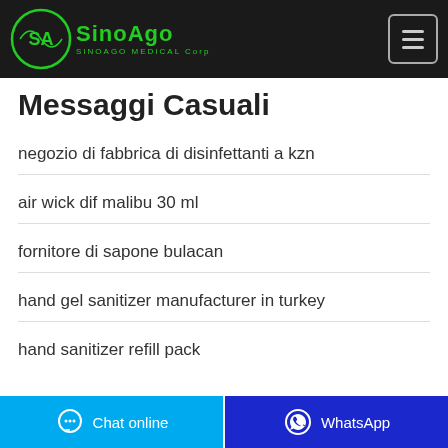SINOAGO MEDICAL Corp
Messaggi Casuali
negozio di fabbrica di disinfettanti a kzn
air wick dif malibu 30 ml
fornitore di sapone bulacan
hand gel sanitizer manufacturer in turkey
hand sanitizer refill pack
Chat online | WhatsApp